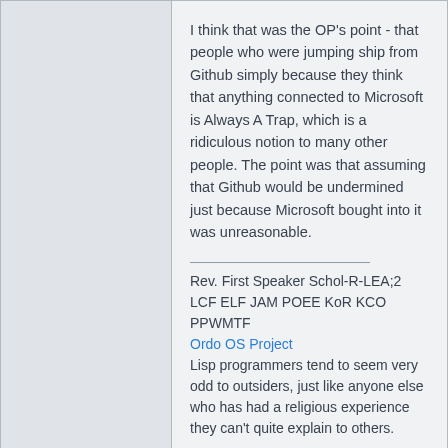I think that was the OP's point - that people who were jumping ship from Github simply because they think that anything connected to Microsoft is Always A Trap, which is a ridiculous notion to many other people. The point was that assuming that Github would be undermined just because Microsoft bought into it was unreasonable.
Rev. First Speaker Schol-R-LEA;2 LCF ELF JAM POEE KoR KCO PPWMTF
Ordo OS Project
Lisp programmers tend to seem very odd to outsiders, just like anyone else who has had a religious experience they can't quite explain to others.
Top
profile